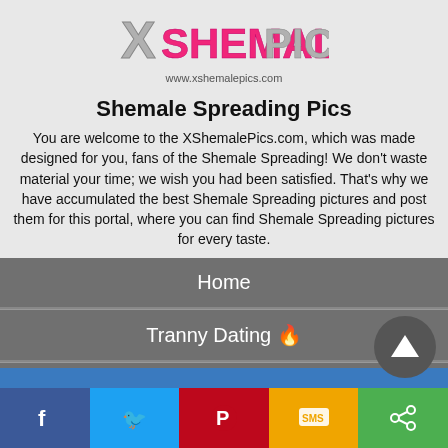[Figure (logo): XShemalePics logo with pink and silver metallic text, website URL below]
Shemale Spreading Pics
You are welcome to the XShemalePics.com, which was made designed for you, fans of the Shemale Spreading! We don't waste material your time; we wish you had been satisfied. That's why we have accumulated the best Shemale Spreading pictures and post them for this portal, where you can find Shemale Spreading pictures for every taste.
Home
Tranny Dating 🔥
🔥 Free Live Sex
🔥 Niche Game
🔥 Tranny Simulator
[Figure (infographic): Social share bar with Facebook, Twitter, Pinterest, SMS, and share buttons]